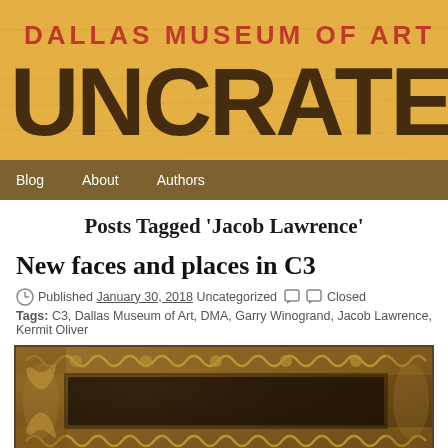[Figure (logo): Dallas Museum of Art Uncrated blog header banner on a tan/golden wooden background with red 'DALLAS MUSEUM OF ART' text above large dark stencil-style 'UNCRATED' lettering]
Blog   About   Authors
Posts Tagged 'Jacob Lawrence'
New faces and places in C3
Published January 30, 2018 Uncategorized Closed
Tags: C3, Dallas Museum of Art, DMA, Garry Winogrand, Jacob Lawrence, Kermit Oliver
[Figure (photo): Close-up photograph of an ornate gold/bronze picture frame with decorative scrollwork and carved floral motifs]